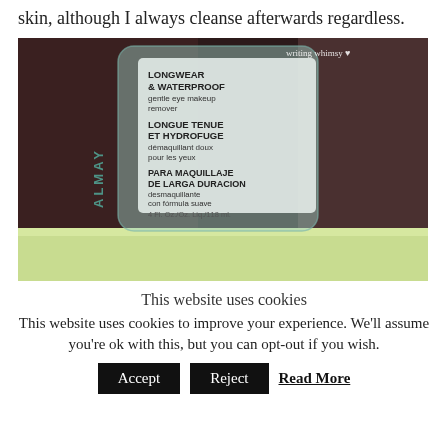skin, although I always cleanse afterwards regardless.
[Figure (photo): A bottle of Almay Longwear & Waterproof gentle eye makeup remover, label showing English, French, and Spanish text, photographed on a light surface against a dark background. Watermark reads 'writing whimsy ♥']
This website uses cookies
This website uses cookies to improve your experience. We'll assume you're ok with this, but you can opt-out if you wish.
Accept   Reject   Read More